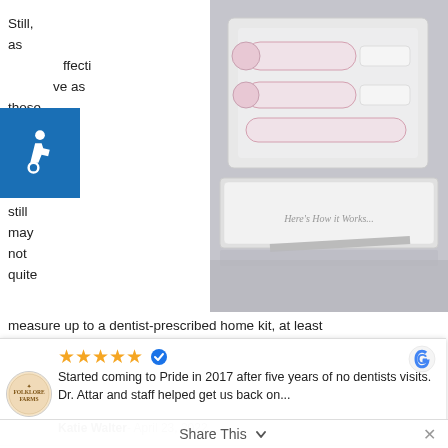Still, as effective as those strips can be, they still may not quite measure up to a dentist-prescribed home kit, at least
[Figure (photo): A white box product kit opened to show multiple syringes or applicators arranged in white foam compartments, with a smaller box below reading 'Here's How it Works...']
measure up to a dentist-prescribed home kit, at least
Started coming to Pride in 2017 after five years of no dentists visits. Dr. Attar and staff helped get us back on...
Katie Walter- April 23, 2022.
authors to conclude that